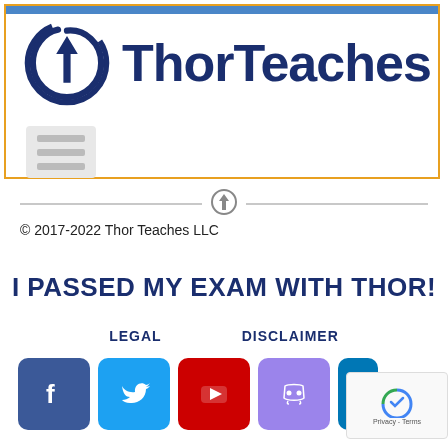[Figure (logo): ThorTeaches logo with circular arrow icon and bold dark blue text 'ThorTeaches']
© 2017-2022 Thor Teaches LLC
I PASSED MY EXAM WITH THOR!
LEGAL    DISCLAIMER
[Figure (infographic): Social media icons row: Facebook, Twitter, YouTube, Discord, LinkedIn]